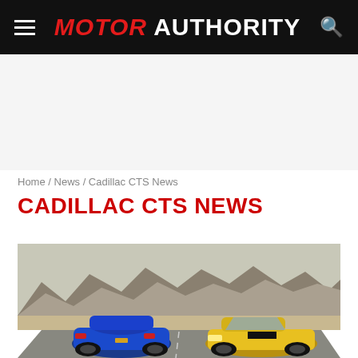MOTOR AUTHORITY
Home / News / Cadillac CTS News
CADILLAC CTS NEWS
[Figure (photo): Two sports cars (blue and yellow Chevrolet Camaro) on a desert road with rocky mountains in the background]